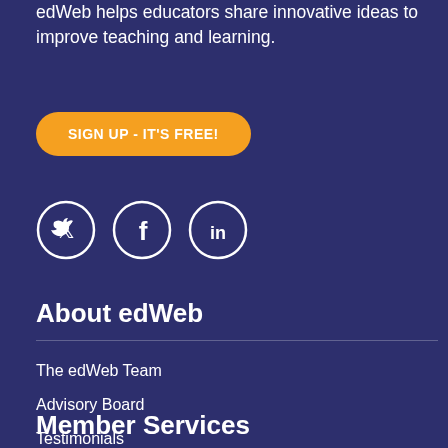edWeb helps educators share innovative ideas to improve teaching and learning.
[Figure (other): Orange rounded button with text SIGN UP - IT'S FREE!]
[Figure (other): Three social media icons in circles: Twitter, Facebook, LinkedIn]
About edWeb
The edWeb Team
Advisory Board
Testimonials
Partners & Sponsors
Sponsor an edWebinar
Member Services